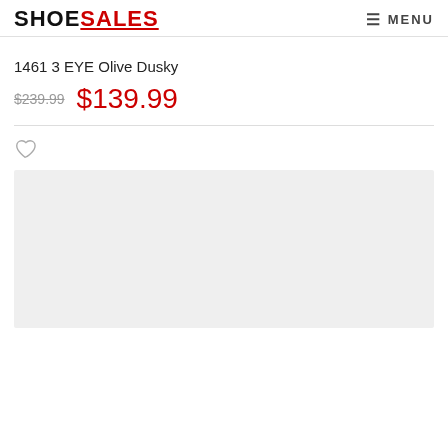SHOESALES  MENU
1461 3 EYE Olive Dusky
$239.99  $139.99
[Figure (photo): Product image placeholder area (light grey background, shoe product area)]